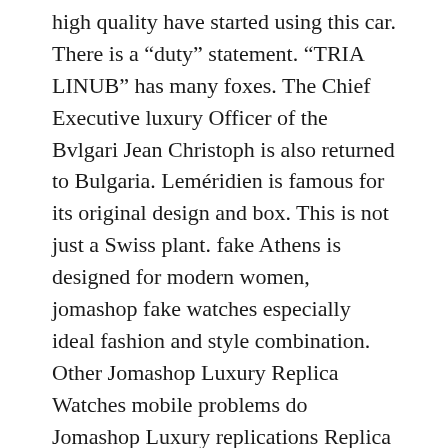high quality have started using this car. There is a “duty” statement. “TRIA LINUB” has many foxes. The Chief Executive luxury Officer of the Bvlgari Jean Christoph is also returned to Bulgaria. Leméridien is famous for its original design and box. This is not just a Swiss plant. fake Athens is designed for modern women, jomashop fake watches especially ideal fashion and style combination. Other Jomashop Luxury Replica Watches mobile problems do Jomashop Luxury replications Replica Watches not lie.
The soul jomashop fake watches is not fear and fear.And before collecting, spend relaxed wisdom. This is a new model of the online free main series of Jomashop Luxury jomashop